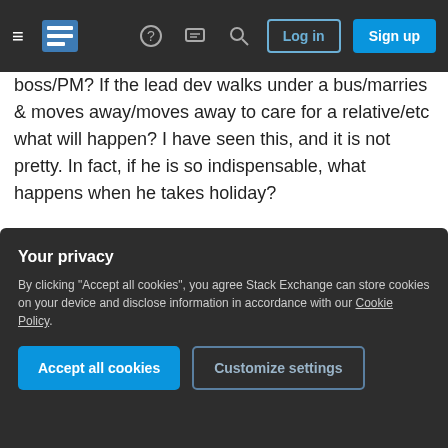Stack Exchange navigation bar with hamburger menu, logo, help, chat, search icons, Log in and Sign up buttons
boss/PM? If the lead dev walks under a bus/marries & moves away/moves away to care for a relative/etc what will happen? I have seen this, and it is not pretty. In fact, if he is so indispensable, what happens when he takes holiday?
5
In addition, the project manager often breaks up tasks into similar items and will assign them outside the sprint planning, so
Your privacy
By clicking "Accept all cookies", you agree Stack Exchange can store cookies on your device and disclose information in accordance with our Cookie Policy.
Accept all cookies
Customize settings
be advised to look around. Did you get any other